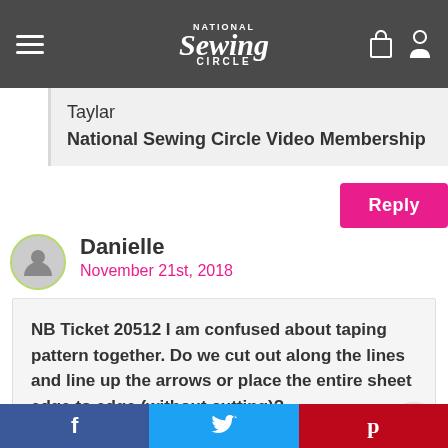National Sewing Circle
Taylar
National Sewing Circle Video Membership
Reply
Danielle
November 21st, 2018
NB Ticket 20512 I am confused about taping pattern together. Do we cut out along the lines and line up the arrows or place the entire sheet edge to edge (without cutting)?
Customer Service
f  Twitter bird  p